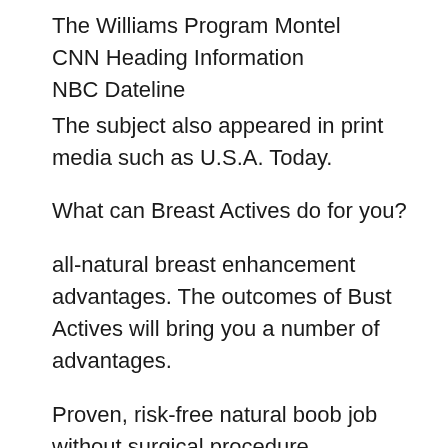The Williams Program Montel
CNN Heading Information
NBC Dateline
The subject also appeared in print media such as U.S.A. Today.
What can Breast Actives do for you?
all-natural breast enhancement advantages. The outcomes of Bust Actives will bring you a number of advantages.
Proven, risk-free natural boob job without surgical procedure
Energetic enlargement of underdeveloped or Tiny Sized quantity, form, and dimension.
busts raised